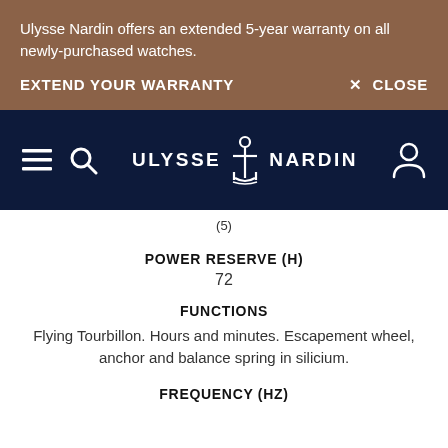Ulysse Nardin offers an extended 5-year warranty on all newly-purchased watches.
EXTEND YOUR WARRANTY
× CLOSE
[Figure (logo): Ulysse Nardin logo with anchor icon on dark navy navigation bar, with hamburger menu icon, search icon, and user account icon]
(5)
POWER RESERVE (H)
72
FUNCTIONS
Flying Tourbillon. Hours and minutes. Escapement wheel, anchor and balance spring in silicium.
FREQUENCY (HZ)